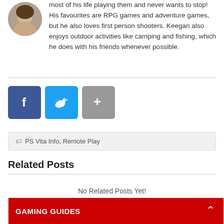most of his life playing them and never wants to stop! His favourites are RPG games and adventure games, but he also loves first person shooters. Keegan also enjoys outdoor activities like camping and fishing, which he does with his friends whenever possible.
[Figure (photo): Circular avatar photo of a man]
[Figure (infographic): Social share buttons: Facebook (blue), Twitter (light blue), More/plus (grey)]
PS Vita Info, Remote Play
Related Posts
No Related Posts Yet!
GAMING GUIDES